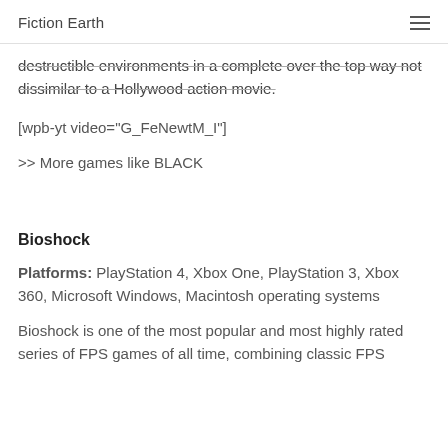Fiction Earth
destructible environments in a complete over the top way not dissimilar to a Hollywood action movie.
[wpb-yt video="G_FeNewtM_I"]
>> More games like BLACK
Bioshock
Platforms: PlayStation 4, Xbox One, PlayStation 3, Xbox 360, Microsoft Windows, Macintosh operating systems
Bioshock is one of the most popular and most highly rated series of FPS games of all time, combining classic FPS